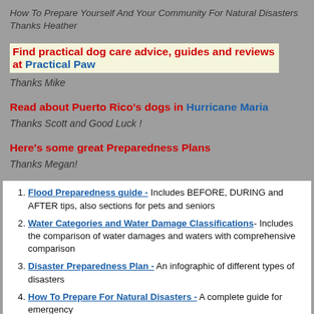How To Prepare Yourself And Your Community For Natural Disasters
Thanks Heather
Find practical dog care advice, guides and reviews at Practical Paw
Thanks Mike
Read about Puerto Rico's dogs in Hurricane Maria
Thanks Scott and Good Luck !
Here's some great Preparedness Plans
Thanks Megan!
Flood Preparedness guide - Includes BEFORE, DURING and AFTER tips, also sections for pets and seniors
Water Categories and Water Damage Classifications- Includes the comparison of water damages and waters with comprehensive comparison
Disaster Preparedness Plan - An infographic of different types of disasters
How To Prepare For Natural Disasters - A complete guide for emergency